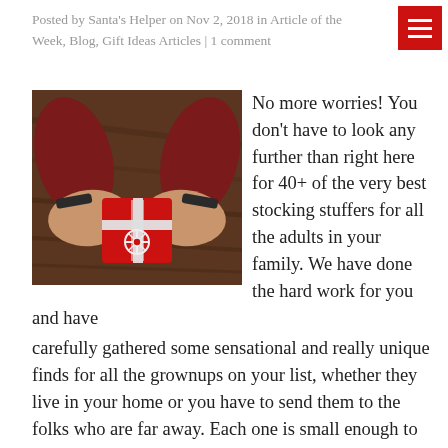Posted by Santa's Helper on Nov 2, 2018 in Article of the Week, Blog, Gift Ideas Articles | 1 comment
[Figure (photo): Hands holding a small red and white decorative gift box with cross and snowflake design, on a wooden background]
No more worries! You don't have to look any further than right here for 40+ of the very best stocking stuffers for all the adults in your family. We have done the hard work for you and have carefully gathered some sensational and really unique finds for all the grownups on your list, whether they live in your home or you have to send them to the folks who are far away. Each one is small enough to fit inside the average Christmas stocking and comes in a wide range of prices, so